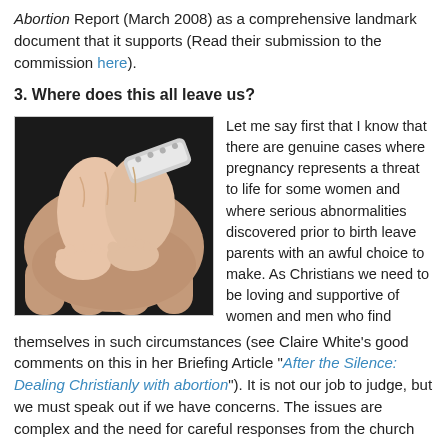Abortion Report (March 2008) as a comprehensive landmark document that it supports (Read their submission to the commission here).
3. Where does this all leave us?
[Figure (photo): A close-up photo of a newborn baby's feet being held by adult hands, with a hospital wristband visible.]
Let me say first that I know that there are genuine cases where pregnancy represents a threat to life for some women and where serious abnormalities discovered prior to birth leave parents with an awful choice to make. As Christians we need to be loving and supportive of women and men who find themselves in such circumstances (see Claire White's good comments on this in her Briefing Article "After the Silence: Dealing Christianly with abortion"). It is not our job to judge, but we must speak out if we have concerns. The issues are complex and the need for careful responses from the church